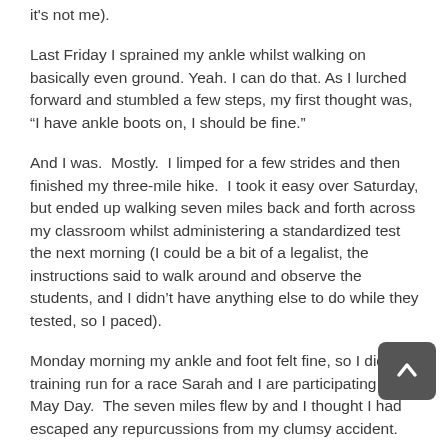it's not me).
Last Friday I sprained my ankle whilst walking on basically even ground. Yeah. I can do that. As I lurched forward and stumbled a few steps, my first thought was, “I have ankle boots on, I should be fine.”
And I was.  Mostly.  I limped for a few strides and then finished my three-mile hike.  I took it easy over Saturday, but ended up walking seven miles back and forth across my classroom whilst administering a standardized test the next morning (I could be a bit of a legalist, the instructions said to walk around and observe the students, and I didn’t have anything else to do while they tested, so I paced).
Monday morning my ankle and foot felt fine, so I did my training run for a race Sarah and I are participating in on May Day.  The seven miles flew by and I thought I had escaped any repurcussions from my clumsy accident.
By Monday afternoon, the top of my foot ached.  I elevated it,